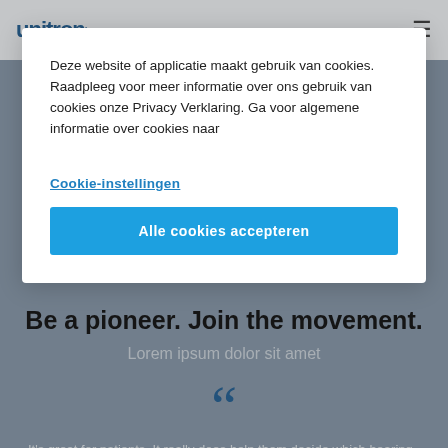unitron
Deze website of applicatie maakt gebruik van cookies. Raadpleeg voor meer informatie over ons gebruik van cookies onze Privacy Verklaring. Ga voor algemene informatie over cookies naar
Cookie-instellingen
Alle cookies accepteren
Be a pioneer. Join the movement.
Lorem ipsum dolor sit amet
It's great for patients. It really does help them decide which hearing aids they want and do it with confidence.